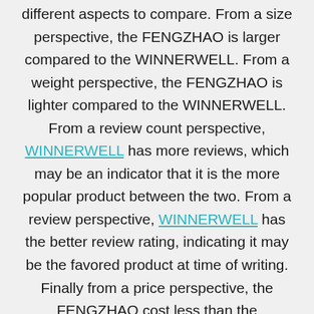different aspects to compare. From a size perspective, the FENGZHAO is larger compared to the WINNERWELL. From a weight perspective, the FENGZHAO is lighter compared to the WINNERWELL. From a review count perspective, WINNERWELL has more reviews, which may be an indicator that it is the more popular product between the two. From a review perspective, WINNERWELL has the better review rating, indicating it may be the favored product at time of writing. Finally from a price perspective, the FENGZHAO cost less than the WINNERWELL, making the FENGZHAO the cheaper option. From a feature perspective, the FENGZHAO has the same features compared to the WINNERWELL, which one should consider in addition to price.